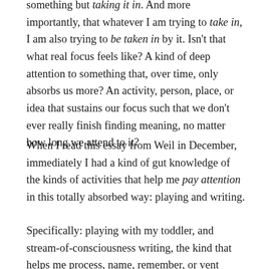something but taking it in. And more importantly, that whatever I am trying to take in, I am also trying to be taken in by it. Isn't that what real focus feels like? A kind of deep attention to something that, over time, only absorbs us more? An activity, person, place, or idea that sustains our focus such that we don't ever really finish finding meaning, no matter how long we attend to it?
When I read this essay from Weil in December, immediately I had a kind of gut knowledge of the kinds of activities that help me pay attention in this totally absorbed way: playing and writing.
Specifically: playing with my toddler, and stream-of-consciousness writing, the kind that helps me process, name, remember, or vent about something that's been rolling around inside me for a while. Don't get me wrong, it's still completely rare to feel myself paying attention well—but